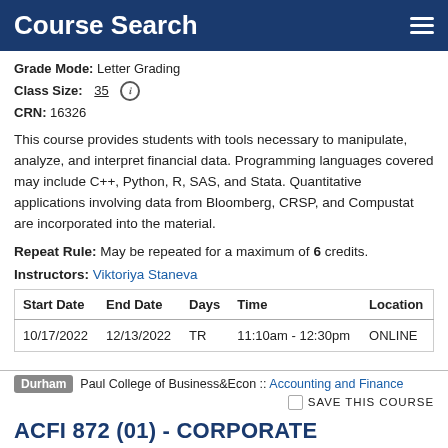Course Search
Grade Mode: Letter Grading
Class Size: 35
CRN: 16326
This course provides students with tools necessary to manipulate, analyze, and interpret financial data. Programming languages covered may include C++, Python, R, SAS, and Stata. Quantitative applications involving data from Bloomberg, CRSP, and Compustat are incorporated into the material.
Repeat Rule: May be repeated for a maximum of 6 credits.
Instructors: Viktoriya Staneva
| Start Date | End Date | Days | Time | Location |
| --- | --- | --- | --- | --- |
| 10/17/2022 | 12/13/2022 | TR | 11:10am - 12:30pm | ONLINE |
Durham  Paul College of Business&Econ :: Accounting and Finance
SAVE THIS COURSE
ACFI 872 (01) - CORPORATE FINANCIAL